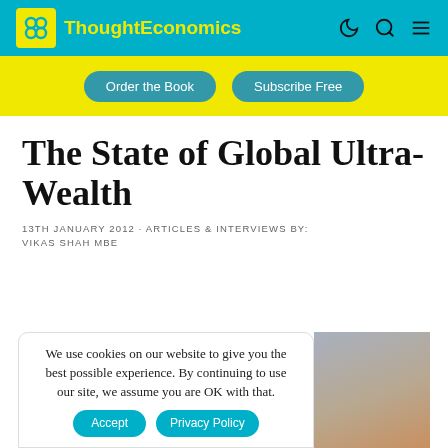ThoughtEconomics
Order the Book   Subscribe Free
The State of Global Ultra-Wealth
13TH JANUARY 2012 · ARTICLES & INTERVIEWS BY:
VIKAS SHAH MBE
We use cookies on our website to give you the best possible experience. By continuing to use our site, we assume you are OK with that.
Accept   Privacy Policy
[Figure (photo): Partial image visible at right side, gradient of grey and warm brown tones]